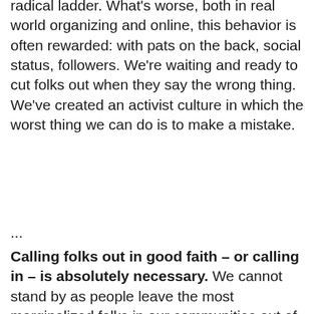radical ladder. What's worse, both in real world organizing and online, this behavior is often rewarded: with pats on the back, social status, followers. We're waiting and ready to cut folks out when they say the wrong thing. We've created an activist culture in which the worst thing we can do is to make a mistake.
...
Calling folks out in good faith – or calling in – is absolutely necessary. We cannot stand by as people leave the most marginalized folks in our communities out of the conversation, say things that are hurtful, and create projects that continue historical legacies of oppression. It's important not just because folks need to be educated, but because the ways we organize and the stories we tell affect the lived realities and material conditions of everyone around us. To not confront oppression when you're in a position to do so is to be complicit in its perpetuity. But it's also important to ask ourselves why we're jumping in. It's cool to be angry – I'm angry as hell, and in a world in which there is so much to hate, I tend to